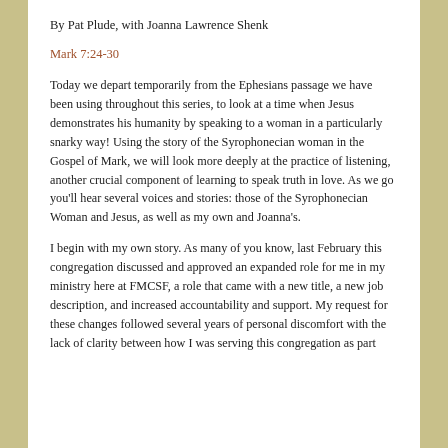By Pat Plude, with Joanna Lawrence Shenk
Mark 7:24-30
Today we depart temporarily from the Ephesians passage we have been using throughout this series, to look at a time when Jesus demonstrates his humanity by speaking to a woman in a particularly snarky way! Using the story of the Syrophonecian woman in the Gospel of Mark, we will look more deeply at the practice of listening, another crucial component of learning to speak truth in love. As we go you'll hear several voices and stories: those of the Syrophonecian Woman and Jesus, as well as my own and Joanna's.
I begin with my own story. As many of you know, last February this congregation discussed and approved an expanded role for me in my ministry here at FMCSF, a role that came with a new title, a new job description, and increased accountability and support. My request for these changes followed several years of personal discomfort with the lack of clarity between how I was serving this congregation as part